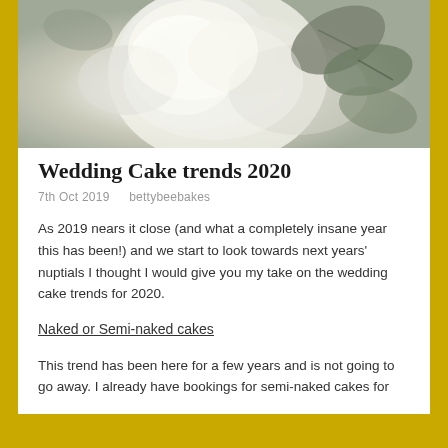[Figure (photo): Close-up photo of white roses and green leaves, likely on a wedding cake, partially cropped at top]
Wedding Cake trends 2020
7th Oct 2019   bettybeebakes
As 2019 nears it close (and what a completely insane year this has been!) and we start to look towards next years' nuptials I thought I would give you my take on the wedding cake trends for 2020.
Naked or Semi-naked cakes
This trend has been here for a few years and is not going to go away. I already have bookings for semi-naked cakes for